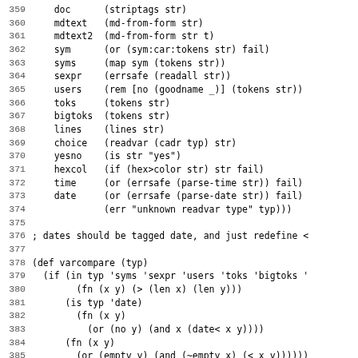[Figure (screenshot): Source code listing showing lines 359-388 of a Lisp/Arc-like programming language. Contains variable reading/parsing functions and a varcompare function definition.]